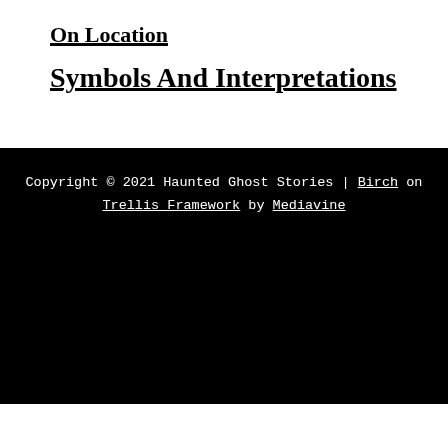On Location
Symbols And Interpretations
Copyright © 2021 Haunted Ghost Stories | Birch on Trellis Framework by Mediavine